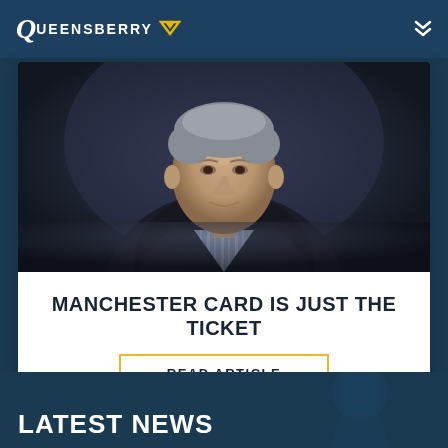Queensberry
[Figure (photo): Portrait photo of an older man in a dark suit and striped shirt, photographed against a dark moody background]
MANCHESTER CARD IS JUST THE TICKET
READ ARTICLE
LATEST NEWS